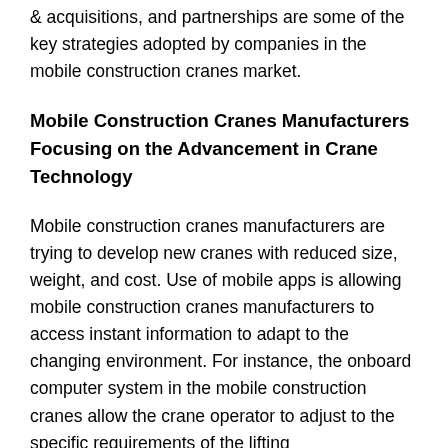& acquisitions, and partnerships are some of the key strategies adopted by companies in the mobile construction cranes market.
Mobile Construction Cranes Manufacturers Focusing on the Advancement in Crane Technology
Mobile construction cranes manufacturers are trying to develop new cranes with reduced size, weight, and cost. Use of mobile apps is allowing mobile construction cranes manufacturers to access instant information to adapt to the changing environment. For instance, the onboard computer system in the mobile construction cranes allow the crane operator to adjust to the specific requirements of the lifting